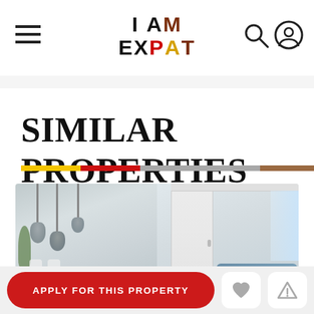I AM EXPAT — navigation header with search and user icons
SIMILAR PROPERTIES
[Figure (photo): Interior property photo showing a minimalist dining area with concrete pendant lights on the left half, and a living room with a blue sofa and cushions on the right half]
APPLY FOR THIS PROPERTY